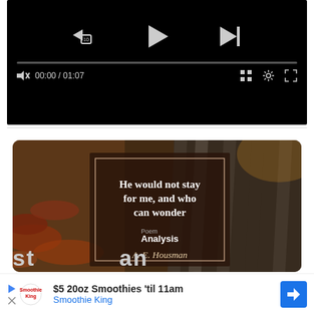[Figure (screenshot): Video player with black background showing playback controls: rewind 10s button, play button, skip-next button, progress bar, mute icon, time display 00:00 / 01:07, grid icon, settings icon, fullscreen icon]
[Figure (illustration): Quote image with autumn outdoor background showing wooden benches and fallen leaves. Center overlay box with text: 'He would not stay for me, and who can wonder' with Poem Analysis logo and 'A. E. Housman' attribution]
[Figure (screenshot): Advertisement banner: $5 20oz Smoothies 'til 11am from Smoothie King with blue diamond navigation arrow icon]